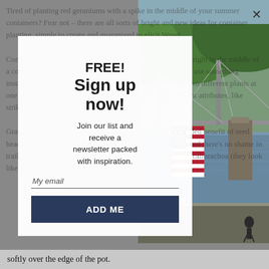[Figure (photo): A suspension bridge over a river with a large American flag hanging from it. Green forested hills in the background, stone bridge pillars, calm river water.]
Tired of planting red geraniums with a spike in the middle of your summer containers? Fear not – there are all sorts of bright and new ideas for container planting, simple to create and guaranteed to elicit Wow! Contrary to popular belief, you can place a dramatic accent right in the middle of a container. Go ahead and ditch that spiky plant and instead use something instant. Your containers look more interesting by planting two different plants at one end of the pot. Or choose a tall plant containing different attributes, like striking purple or a sunlit. Grassy-leaved plants are great for softening a look – the added benefit of seed heads can late summer breathe gently wave in the breeze. And there's no shame in trailing plants such as sweet potato vine, diascia, bacopa or calibrachoa (they look like tiny petunias) that spill softly over the edge of the pot.
FREE! Sign up now!
Join our list and receive a newsletter packed with inspiration.
My email
ADD ME
softly over the edge of the pot.